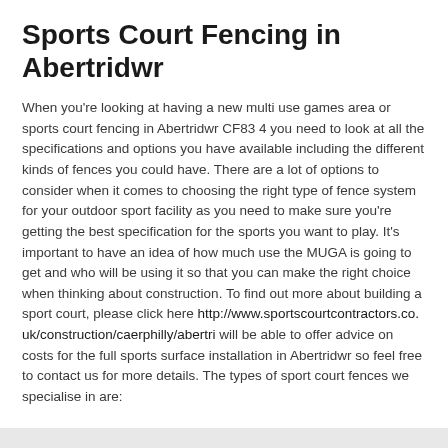Sports Court Fencing in Abertridwr
When you're looking at having a new multi use games area or sports court fencing in Abertridwr CF83 4 you need to look at all the specifications and options you have available including the different kinds of fences you could have. There are a lot of options to consider when it comes to choosing the right type of fence system for your outdoor sport facility as you need to make sure you're getting the best specification for the sports you want to play. It's important to have an idea of how much use the MUGA is going to get and who will be using it so that you can make the right choice when thinking about construction. To find out more about building a sport court, please click here http://www.sportscourtcontractors.co.uk/construction/caerphilly/abertri will be able to offer advice on costs for the full sports surface installation in Abertridwr so feel free to contact us for more details. The types of sport court fences we specialise in are: